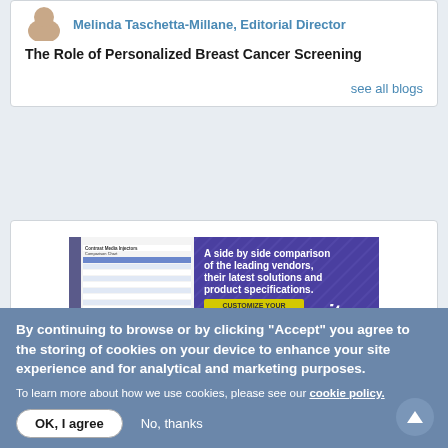Melinda Taschetta-Millane, Editorial Director
The Role of Personalized Breast Cancer Screening
see all blogs
[Figure (illustration): ITN advertisement banner: A side by side comparison of the leading vendors, their latest solutions and product specifications. Customize your comparison chart.]
By continuing to browse or by clicking “Accept” you agree to the storing of cookies on your device to enhance your site experience and for analytical and marketing purposes.
To learn more about how we use cookies, please see our cookie policy.